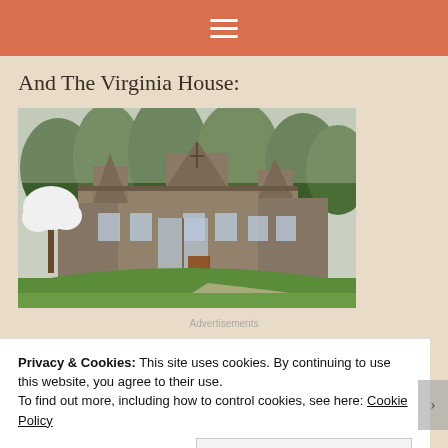≡
And The Virginia House:
[Figure (photo): Photograph of the Virginia House, an English Tudor-style stone manor with multi-gabled roofline, large windows, surrounded by green lawn and trees, with a blooming white dogwood tree on the left side.]
Advertisements
Privacy & Cookies: This site uses cookies. By continuing to use this website, you agree to their use.
To find out more, including how to control cookies, see here: Cookie Policy
Close and accept